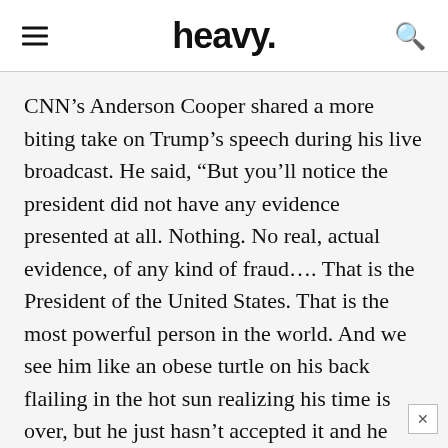heavy.
CNN’s Anderson Cooper shared a more biting take on Trump’s speech during his live broadcast. He said, “But you’ll notice the president did not have any evidence presented at all. Nothing. No real, actual evidence, of any kind of fraud…. That is the President of the United States. That is the most powerful person in the world. And we see him like an obese turtle on his back flailing in the hot sun realizing his time is over, but he just hasn’t accepted it and he wants to take everybody down with him including this country.”